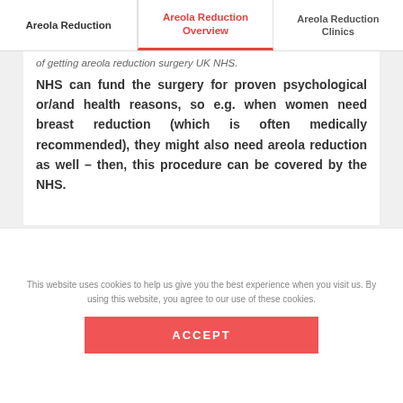Areola Reduction | Areola Reduction Overview | Areola Reduction Clinics
of getting areola reduction surgery UK NHS. NHS can fund the surgery for proven psychological or/and health reasons, so e.g. when women need breast reduction (which is often medically recommended), they might also need areola reduction as well – then, this procedure can be covered by the NHS.
This website uses cookies to help us give you the best experience when you visit us. By using this website, you agree to our use of these cookies.
ACCEPT